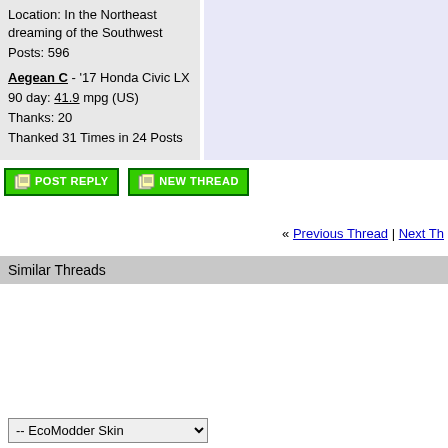Location: In the Northeast dreaming of the Southwest
Posts: 596
Aegean C - '17 Honda Civic LX
90 day: 41.9 mpg (US)
Thanks: 20
Thanked 31 Times in 24 Posts
[Figure (screenshot): Post Reply button (green)]
[Figure (screenshot): New Thread button (green)]
« Previous Thread | Next Th...
Similar Threads
| Thread | Thread Starter | DIY... |
| --- | --- | --- |
| DIY: plastic rear wheel skirts (Geo Metro) | MetroMPG | DIY |
| Geo Metro XFI Convertible Project Finished | Coyote X | Eco |
| Final gear drives for GEO METRO, Swift...Firefly | Frederick | Fo |
| Video: Geo Metro Commercial! | Peakster | Ge |
-- EcoModder Skin